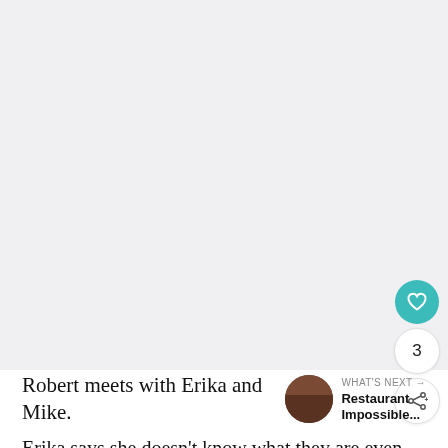[Figure (photo): Large blank/placeholder image area with light grey background, taking up most of the upper portion of the page. UI elements overlay the bottom-right: a teal heart button, a count of 3, and a share button.]
Robert meets with Erika and Mike.
Erika says she doesn't know what they are even doing